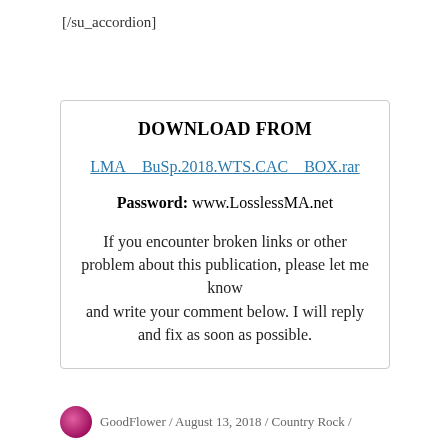[/su_accordion]
DOWNLOAD FROM

LMA__BuSp.2018.WTS.CAC__BOX.rar

Password: www.LosslessMA.net

If you encounter broken links or other problem about this publication, please let me know and write your comment below. I will reply and fix as soon as possible.
GoodFlower / August 13, 2018 / Country Rock /